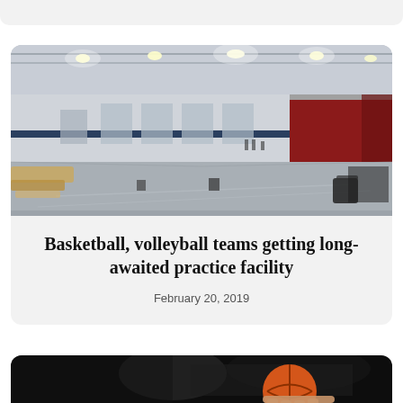[Figure (photo): Partial top of a card from previous article, gray background bar visible at top of page]
[Figure (photo): Interior of a large empty sports facility under renovation. High ceiling with lights, bare concrete floor, a red wall section on the right, some equipment scattered around, and wooden bleachers/bench on the left side.]
Basketball, volleyball teams getting long-awaited practice facility
February 20, 2019
[Figure (photo): Partial bottom card showing a dark/night photo with a basketball being held by a hand, partially visible at bottom of page.]